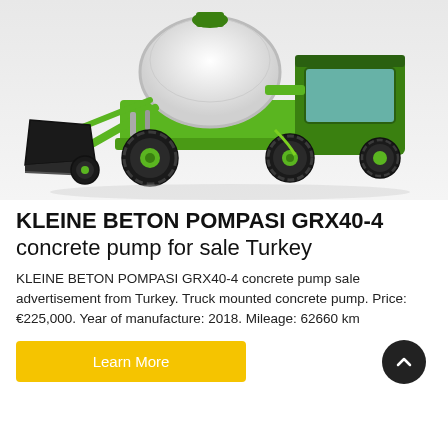[Figure (photo): Green self-loading concrete mixer truck (KLEINE BETON POMPASI GRX40-4) with white drum and black front bucket loader, photographed on a white/grey background]
KLEINE BETON POMPASI GRX40-4 concrete pump for sale Turkey
KLEINE BETON POMPASI GRX40-4 concrete pump sale advertisement from Turkey. Truck mounted concrete pump. Price: €225,000. Year of manufacture: 2018. Mileage: 62660 km